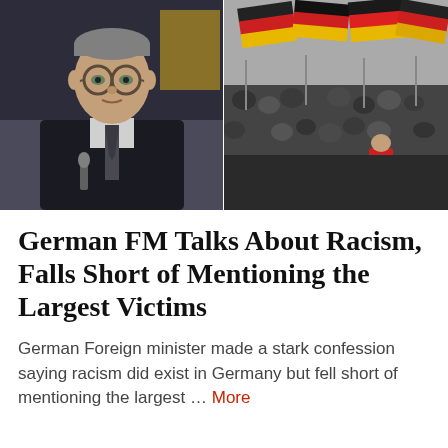[Figure (photo): Two-photo collage: Left photo shows a middle-aged man with glasses and a suit and tie, facing slightly left, speaking at a podium. Right photo shows a large crowd of people gathered outdoors, many waving large German flags (black, red, gold).]
German FM Talks About Racism, Falls Short of Mentioning the Largest Victims
German Foreign minister made a stark confession saying racism did exist in Germany but fell short of mentioning the largest … More